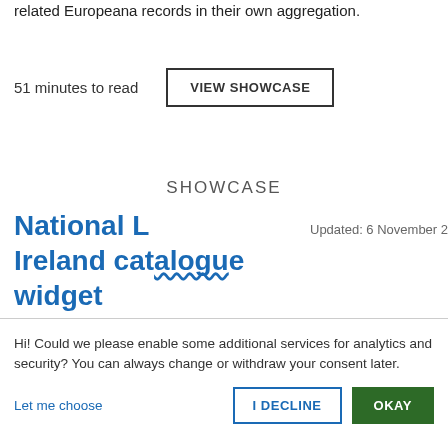related Europeana records in their own aggregation.
51 minutes to read
VIEW SHOWCASE
SHOWCASE
National L Ireland catalogue widget
Updated: 6 November 2017
Hi! Could we please enable some additional services for analytics and security? You can always change or withdraw your consent later.
Let me choose
I DECLINE
OKAY